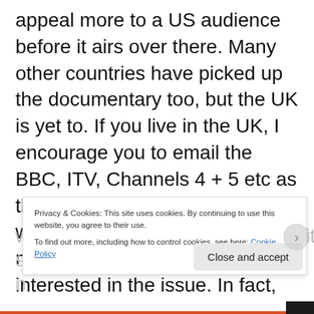appeal more to a US audience before it airs over there. Many other countries have picked up the documentary too, but the UK is yet to. If you live in the UK, I encourage you to email the BBC, ITV, Channels 4 + 5 etc as this is a documentary definitely worth seeing, even if you have never particularly been interested in the issue. In fact, watch it especially if the issue is not one you are too familiar with. You won't be able to stop
Privacy & Cookies: This site uses cookies. By continuing to use this website, you agree to their use.
To find out more, including how to control cookies, see here: Cookie Policy
Close and accept